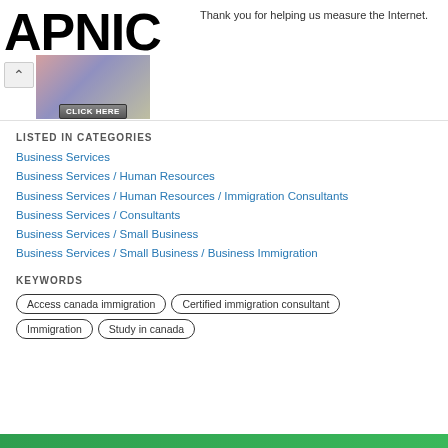[Figure (logo): APNIC logo in large bold black text]
Thank you for helping us measure the Internet.
[Figure (photo): Banner image with people and CLICK HERE button overlay]
LISTED IN CATEGORIES
Business Services
Business Services / Human Resources
Business Services / Human Resources / Immigration Consultants
Business Services / Consultants
Business Services / Small Business
Business Services / Small Business / Business Immigration
KEYWORDS
Access canada immigration
Certified immigration consultant
Immigration
Study in canada